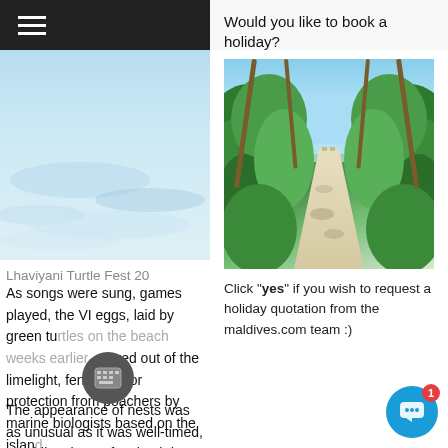[Figure (photo): Sandy beach/water surface close-up, pale blue-grey tones, left column]
Lhaviyani Turtle Fest 20
As songs were sung, games played, the VI eggs, laid by green turtles on the beach weeks earlier, stayed out of the limelight, fenced in for protection from poachers by marine biologists based on the island.
The appearance of nests was as unusual as it was well-timed, providing the perfect backdrop as the rest of the
Would you like to book a holiday?
[Figure (photo): Tropical resort pathway lined with lush green palm trees and vegetation, leading to a beach, bright sky above]
Click "yes" if you wish to request a holiday quotation from the maldives.com team :)